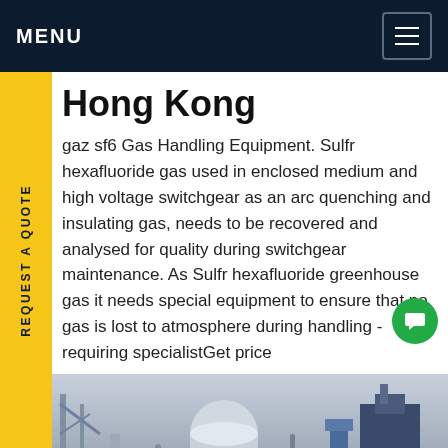MENU
Hong Kong
gaz sf6 Gas Handling Equipment. Sulfr hexafluoride gas used in enclosed medium and high voltage switchgear as an arc quenching and insulating gas, needs to be recovered and analysed for quality during switchgear maintenance. As Sulfr hexafluoride greenhouse gas it needs special equipment to ensure that no gas is lost to atmosphere during handling - requiring specialistGet price
[Figure (photo): Industrial gas handling equipment and machinery photographed outdoors, showing pipes, tanks, valves and industrial components against a blue-grey sky background.]